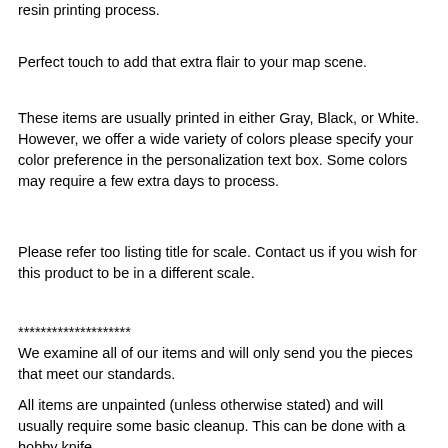resin printing process.
Perfect touch to add that extra flair to your map scene.
These items are usually printed in either Gray, Black, or White. However, we offer a wide variety of colors please specify your color preference in the personalization text box. Some colors may require a few extra days to process.
Please refer too listing title for scale. Contact us if you wish for this product to be in a different scale.
********************
We examine all of our items and will only send you the pieces that meet our standards.
All items are unpainted (unless otherwise stated) and will usually require some basic cleanup. This can be done with a hobby knife